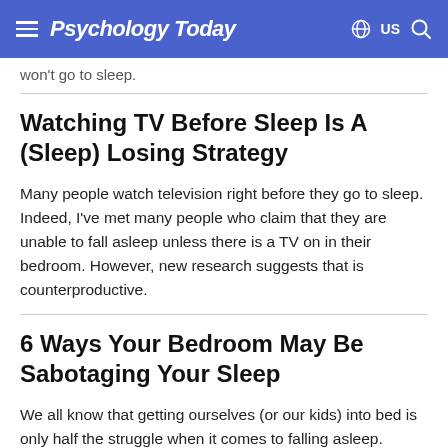Psychology Today | US
won't go to sleep.
Watching TV Before Sleep Is A (Sleep) Losing Strategy
Many people watch television right before they go to sleep. Indeed, I've met many people who claim that they are unable to fall asleep unless there is a TV on in their bedroom. However, new research suggests that is counterproductive.
6 Ways Your Bedroom May Be Sabotaging Your Sleep
We all know that getting ourselves (or our kids) into bed is only half the struggle when it comes to falling asleep. It is the next mission and to win...the mission to...